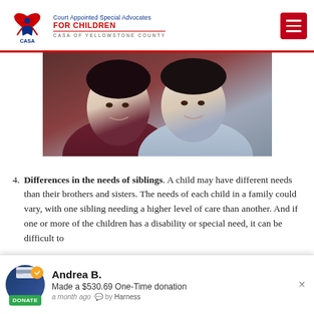Court Appointed Special Advocates FOR CHILDREN — CASA OF YELLOWSTONE COUNTY
[Figure (photo): Two young women or teenage girls posing together for a close-up photo, one wearing a dark maroon hoodie and one wearing a light blue hoodie.]
4. Differences in the needs of siblings. A child may have different needs than their brothers and sisters. The needs of each child in a family could vary, with one sibling needing a higher level of care than another. And if one or more of the children has a disability or special need, it can be difficult to
Andrea B. Made a $530.69 One-Time donation a month ago by Harness